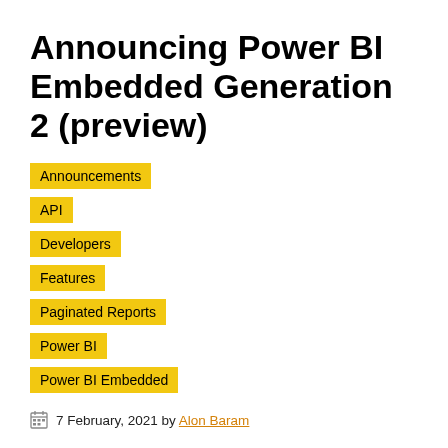Announcing Power BI Embedded Generation 2 (preview)
Announcements
API
Developers
Features
Paginated Reports
Power BI
Power BI Embedded
7 February, 2021 by Alon Baram